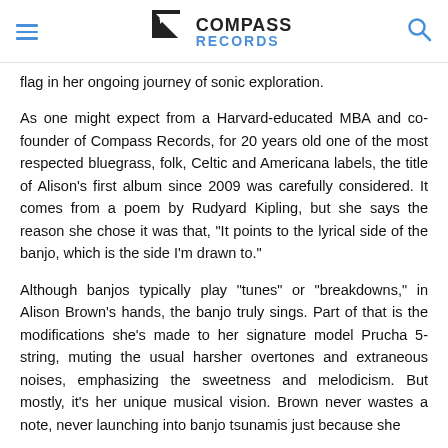Compass Records
flag in her ongoing journey of sonic exploration.
As one might expect from a Harvard-educated MBA and co-founder of Compass Records, for 20 years old one of the most respected bluegrass, folk, Celtic and Americana labels, the title of Alison’s first album since 2009 was carefully considered. It comes from a poem by Rudyard Kipling, but she says the reason she chose it was that, “It points to the lyrical side of the banjo, which is the side I’m drawn to.”
Although banjos typically play “tunes” or “breakdowns,” in Alison Brown’s hands, the banjo truly sings. Part of that is the modifications she’s made to her signature model Prucha 5-string, muting the usual harsher overtones and extraneous noises, emphasizing the sweetness and melodicism. But mostly, it’s her unique musical vision. Brown never wastes a note, never launching into banjo tsunamis just because she